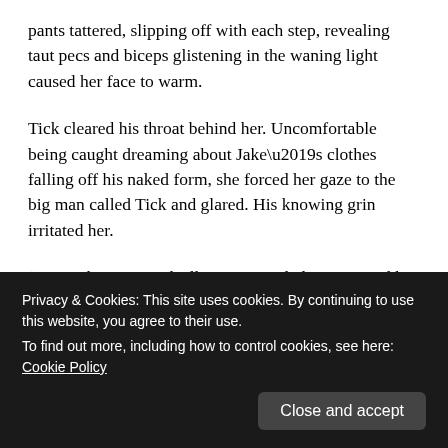pants tattered, slipping off with each step, revealing taut pecs and biceps glistening in the waning light caused her face to warm.
Tick cleared his throat behind her. Uncomfortable being caught dreaming about Jake’s clothes falling off his naked form, she forced her gaze to the big man called Tick and glared. His knowing grin irritated her.
“Come this way, and I’ll get you settled.” He tossed her the backpack, and she smoothly caught it. It felt lightweight. Her small Beretta was probably still missing inside. Tick continued to talk. “Wait until you see the room. It has an
Privacy & Cookies: This site uses cookies. By continuing to use this website, you agree to their use.
To find out more, including how to control cookies, see here: Cookie Policy
Close and accept